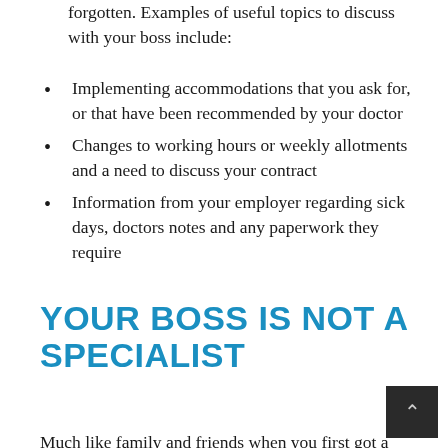forgotten. Examples of useful topics to discuss with your boss include:
Implementing accommodations that you ask for, or that have been recommended by your doctor
Changes to working hours or weekly allotments and a need to discuss your contract
Information from your employer regarding sick days, doctors notes and any paperwork they require
YOUR BOSS IS NOT A SPECIALIST
Much like family and friends when you first got a diagnosis, your boss likely has little idea what migraines entail. Particularly in large workforces and offices, it can be hard for a manager to be up to date on every illness their staff possess and how to